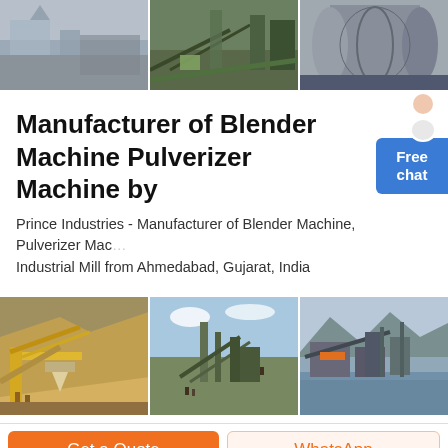[Figure (photo): Three industrial machinery photos in a horizontal strip: left shows a quarry/mine site with dust and structures, center shows large industrial processing plant equipment and conveyors, right shows a large grey cylindrical ball mill or drum.]
Manufacturer of Blender Machine Pulverizer Machine by
Prince Industries - Manufacturer of Blender Machine, Pulverizer Machine & Industrial Mill from Ahmedabad, Gujarat, India
[Figure (photo): Three industrial site photos in a horizontal strip: left shows yellow crushing/screening plant with conveyors and workers, center shows a large industrial processing facility with conveyors in open land, right shows machinery and equipment near a body of water with mountains in background.]
Get a Quote
WhatsApp